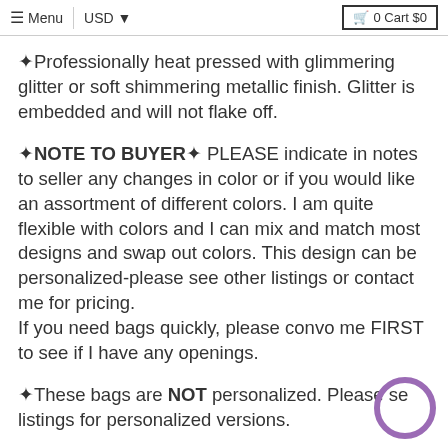Menu | USD ▼   🛒 0 Cart $0
✦Professionally heat pressed with glimmering glitter or soft shimmering metallic finish. Glitter is embedded and will not flake off.
✦NOTE TO BUYER✦ PLEASE indicate in notes to seller any changes in color or if you would like an assortment of different colors. I am quite flexible with colors and I can mix and match most designs and swap out colors. This design can be personalized-please see other listings or contact me for pricing.
If you need bags quickly, please convo me FIRST to see if I have any openings.
✦These bags are NOT personalized. Please see listings for personalized versions.